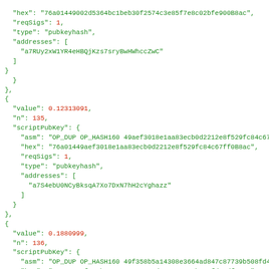JSON code block showing Bitcoin transaction output scriptPubKey data for entries n:135, n:136, n:137